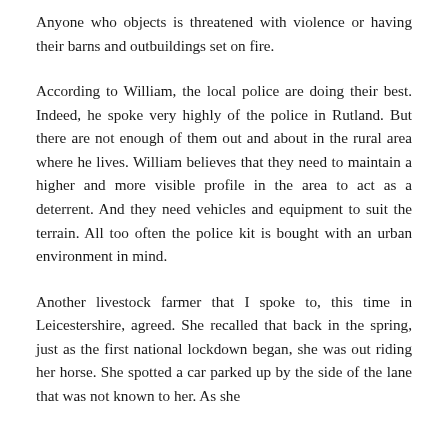Anyone who objects is threatened with violence or having their barns and outbuildings set on fire.
According to William, the local police are doing their best. Indeed, he spoke very highly of the police in Rutland. But there are not enough of them out and about in the rural area where he lives. William believes that they need to maintain a higher and more visible profile in the area to act as a deterrent. And they need vehicles and equipment to suit the terrain. All too often the police kit is bought with an urban environment in mind.
Another livestock farmer that I spoke to, this time in Leicestershire, agreed. She recalled that back in the spring, just as the first national lockdown began, she was out riding her horse. She spotted a car parked up by the side of the lane that was not known to her. As she